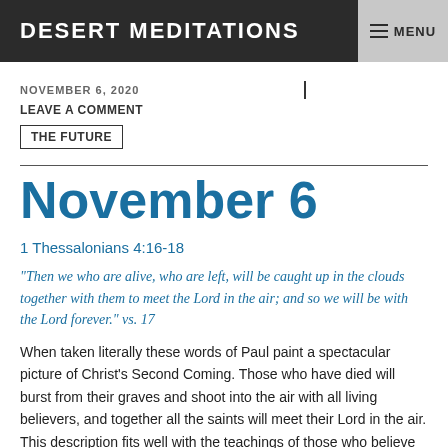DESERT MEDITATIONS
NOVEMBER 6, 2020
LEAVE A COMMENT
THE FUTURE
November 6
1 Thessalonians 4:16-18
“Then we who are alive, who are left, will be caught up in the clouds together with them to meet the Lord in the air; and so we will be with the Lord forever.” vs. 17
When taken literally these words of Paul paint a spectacular picture of Christ’s Second Coming. Those who have died will burst from their graves and shoot into the air with all living believers, and together all the saints will meet their Lord in the air. This description fits well with the teachings of those who believe in what is commonly called the Rapture. The “Left